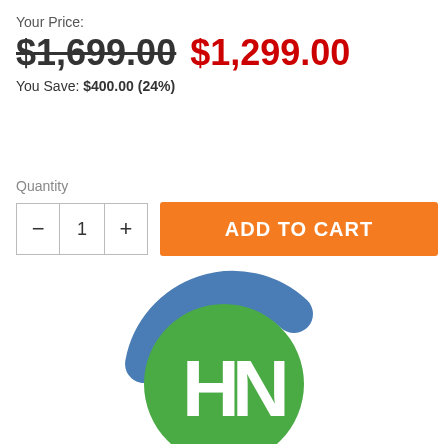Your Price:
$1,699.00  $1,299.00
You Save: $400.00 (24%)
Quantity
— 1 +   ADD TO CART
[Figure (logo): Circular logo with blue arc on top and green circle with white H and N letters]